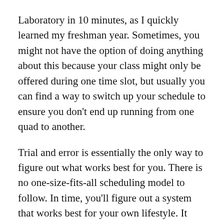Laboratory in 10 minutes, as I quickly learned my freshman year. Sometimes, you might not have the option of doing anything about this because your class might only be offered during one time slot, but usually you can find a way to switch up your schedule to ensure you don't end up running from one quad to another.
Trial and error is essentially the only way to figure out what works best for you. There is no one-size-fits-all scheduling model to follow. In time, you'll figure out a system that works best for your own lifestyle. It took me that first fall semester to figure out what I wanted to change or keep the same when registering for the spring semester.
Abrar is a senior in Media.